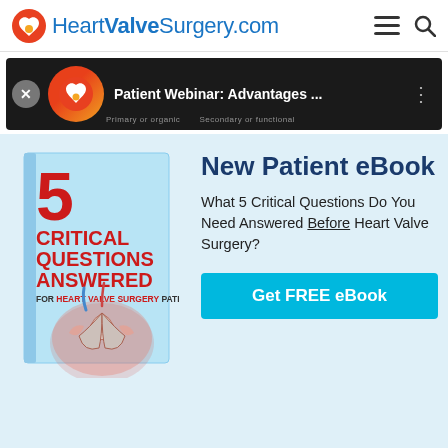HeartValveSurgery.com
[Figure (screenshot): Video banner showing Patient Webinar: Advantages ... with HeartValveSurgery.com logo thumbnail on dark background]
[Figure (photo): Book cover: 5 Critical Questions Answered for Heart Valve Surgery Patients, with anatomical heart valve illustration]
New Patient eBook
What 5 Critical Questions Do You Need Answered Before Heart Valve Surgery?
Get FREE eBook